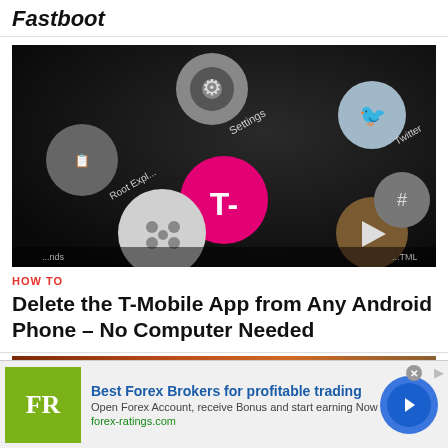Fastboot
[Figure (photo): Close-up photo of an Android phone screen showing app icons including Settings, Root Explorer, T-Mobile (magenta), Twitter, and other app icons on a dark background.]
HOW TO
Delete the T-Mobile App from Any Android Phone – No Computer Needed
[Figure (photo): Partial image of a second article showing a laptop or monitor against a brick wall background.]
[Figure (infographic): Advertisement banner: Best Forex Brokers for profitable trading. FR logo in green square. Open Forex Account, receive Bonus and start earning Now. forex-ratings.com]